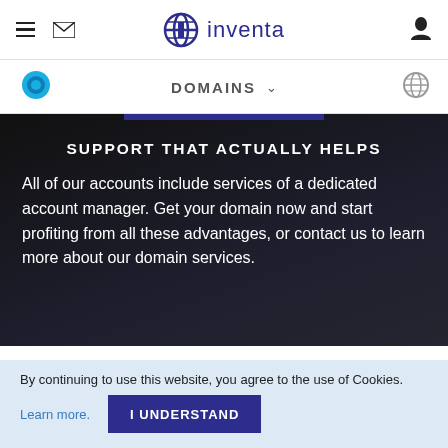inventa — header navigation with hamburger menu, mail icon, logo, user icon
DOMAINS
SUPPORT THAT ACTUALLY HELPS
All of our accounts include services of a dedicated account manager. Get your domain now and start profiting from all these advantages, or contact us to learn more about our domain services.
WHY CHOOSE US
By continuing to use this website, you agree to the use of Cookies.
Learn more.
I UNDERSTAND